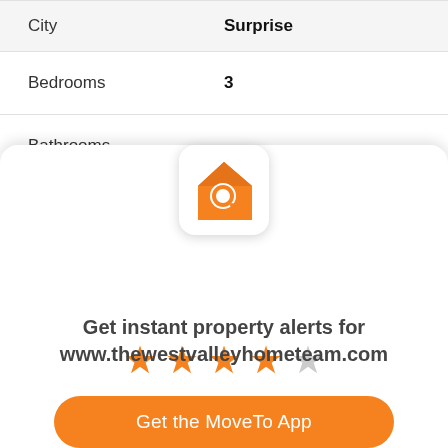| Field | Value |
| --- | --- |
| City | Surprise |
| Bedrooms | 3 |
| Bathrooms | 2 |
[Figure (logo): MoveTo app icon: orange house with magnifying glass]
[Figure (infographic): 4 out of 5 orange stars rating]
Get instant property alerts for www.thewestvalleyhometeam.com
Get the MoveTo App
Not Now